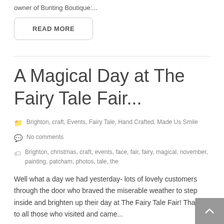owner of Bunting Boutique:...
READ MORE
A Magical Day at The Fairy Tale Fair...
Brighton, craft, Events, Fairy Tale, Hand Crafted, Made Us Smile
No comments
Brighton, christmas, craft, events, face, fair, fairy, magical, november, painting, patcham, photos, tale, the
Well what a day we had yesterday- lots of lovely customers through the door who braved the miserable weather to step inside and brighten up their day at The Fairy Tale Fair! Thanks to all those who visited and came...